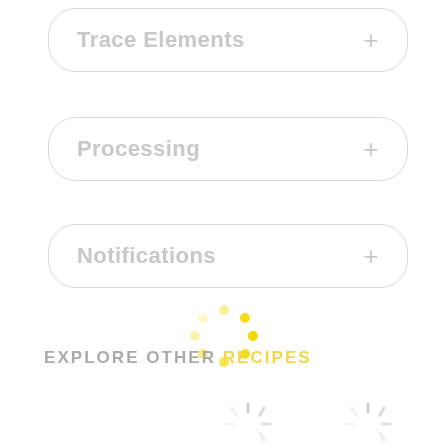Trace Elements +
Processing +
Notifications +
[Figure (other): Yellow circular loading spinner animation indicator]
EXPLORE OTHER RECIPES
[Figure (other): Two loading spinner indicators at bottom left and bottom right]